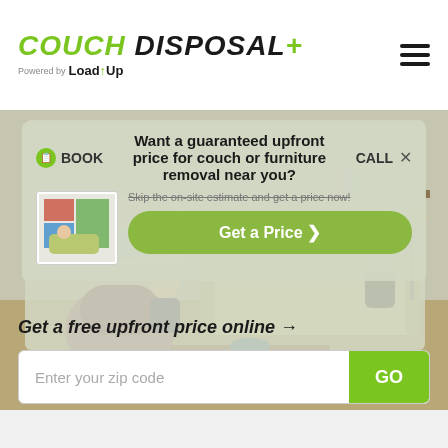[Figure (logo): Couch Disposal Plus logo powered by LoadUp]
[Figure (screenshot): Hero section with illustrated living room background and overlay modal asking 'Want a guaranteed upfront price for couch or furniture removal near you?' with a Get a Price button]
Get a free upfront price online →
Enter your zip code
GO